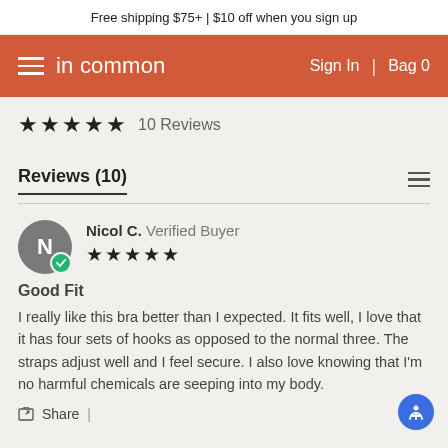Free shipping $75+ | $10 off when you sign up
in common | Sign In | Bag 0
★★★★★  10 Reviews
Reviews (10)
Nicol C. Verified Buyer ★★★★★
Good Fit
I really like this bra better than I expected. It fits well, I love that it has four sets of hooks as opposed to the normal three. The straps adjust well and I feel secure. I also love knowing that I'm no harmful chemicals are seeping into my body.
Share |